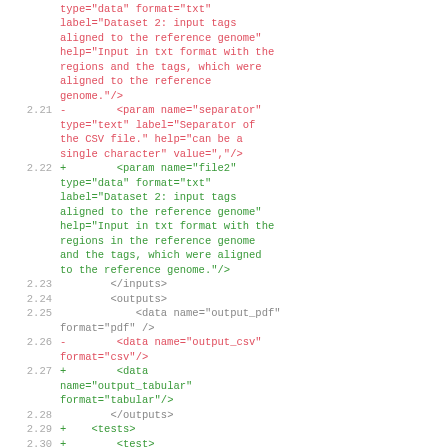Code diff showing XML parameter changes for a bioinformatics tool, lines 2.21-2.30
2.21 -        <param name="separator" type="text" label="Separator of the CSV file." help="can be a single character" value=","/>
2.22 +        <param name="file2" type="data" format="txt" label="Dataset 2: input tags aligned to the reference genome" help="Input in txt format with the regions in the reference genome and the tags, which were aligned to the reference genome."/>
2.23          </inputs>
2.24          <outputs>
2.25              <data name="output_pdf" format="pdf" />
2.26 -        <data name="output_csv" format="csv"/>
2.27 +        <data name="output_tabular" format="tabular"/>
2.28          </outputs>
2.29 +    <tests>
2.30 +        <test>